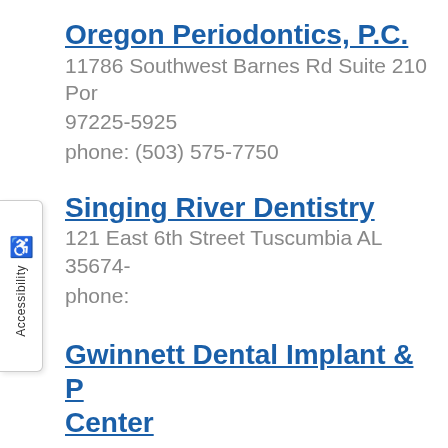Oregon Periodontics, P.C.
11786 Southwest Barnes Rd Suite 210 Por
97225-5925
phone: (503) 575-7750
Singing River Dentistry
121 East 6th Street Tuscumbia AL 35674-
phone:
Gwinnett Dental Implant & P Center